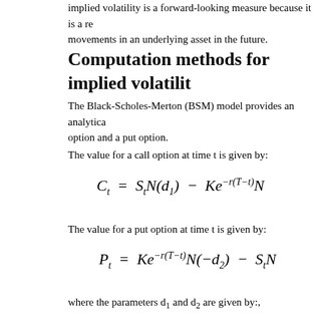Implied volatility is a forward-looking measure because it is a reflection of expected movements in an underlying asset in the future.
Computation methods for implied volatility
The Black-Scholes-Merton (BSM) model provides an analytical solution for the value of a call option and a put option.
The value for a call option at time t is given by:
The value for a put option at time t is given by:
where the parameters d₁ and d₂ are given by:,